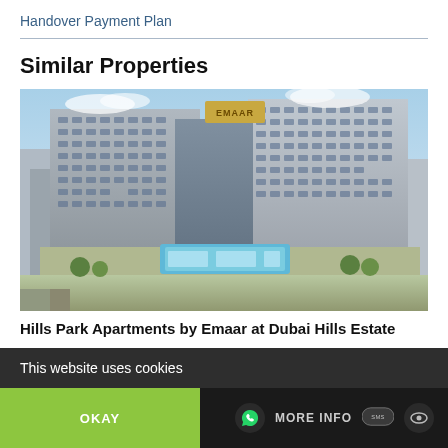Handover Payment Plan
Similar Properties
[Figure (photo): Aerial rendering of Hills Park Apartments by Emaar at Dubai Hills Estate, showing two tall residential towers with a rooftop pool and landscaped amenities area]
Hills Park Apartments by Emaar at Dubai Hills Estate
This website uses cookies
OKAY
MORE INFO